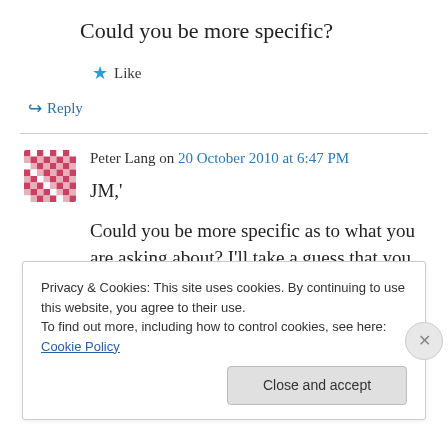Could you be more specific?
★ Like
↪ Reply
Peter Lang on 20 October 2010 at 6:47 PM
JM,'
Could you be more specific as to what you are asking about? I'll take a guess that you are referring to this:
Privacy & Cookies: This site uses cookies. By continuing to use this website, you agree to their use.
To find out more, including how to control cookies, see here: Cookie Policy
Close and accept